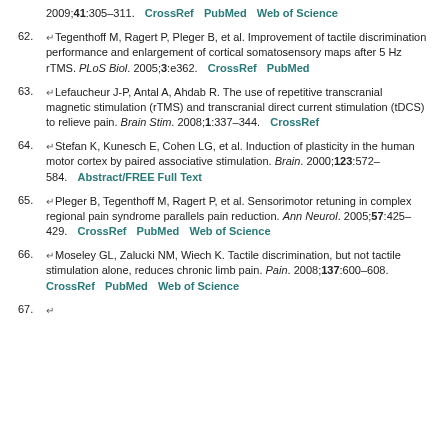2009;41:305–311. CrossRef PubMed Web of Science
62. Tegenthoff M, Ragert P, Pleger B, et al. Improvement of tactile discrimination performance and enlargement of cortical somatosensory maps after 5 Hz rTMS. PLoS Biol. 2005;3:e362. CrossRef PubMed
63. Lefaucheur J-P, Antal A, Ahdab R. The use of repetitive transcranial magnetic stimulation (rTMS) and transcranial direct current stimulation (tDCS) to relieve pain. Brain Stim. 2008;1:337–344. CrossRef
64. Stefan K, Kunesch E, Cohen LG, et al. Induction of plasticity in the human motor cortex by paired associative stimulation. Brain. 2000;123:572–584. Abstract/FREE Full Text
65. Pleger B, Tegenthoff M, Ragert P, et al. Sensorimotor retuning in complex regional pain syndrome parallels pain reduction. Ann Neurol. 2005;57:425–429. CrossRef PubMed Web of Science
66. Moseley GL, Zalucki NM, Wiech K. Tactile discrimination, but not tactile stimulation alone, reduces chronic limb pain. Pain. 2008;137:600–608. CrossRef PubMed Web of Science
67. (partial, cut off)